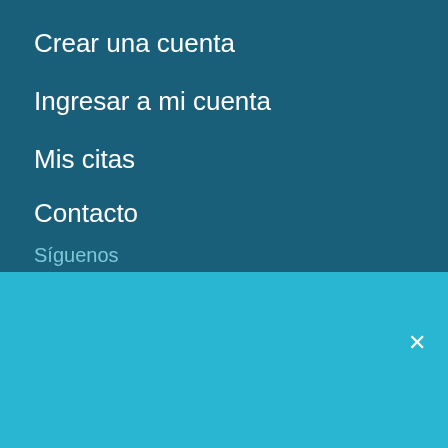Crear una cuenta
Ingresar a mi cuenta
Mis citas
Contacto
Síguenos
Servicio orientado a consultas de seguimiento y clientes frecuentes de Banfield, para nuevas consultas recomendamos realizar primero una cita presencial, gracias.